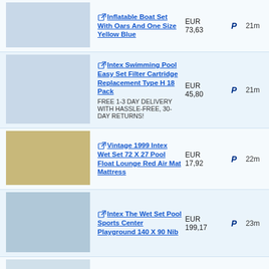| Image | Product | Price |  | Payment | Time |
| --- | --- | --- | --- | --- | --- |
| [img] | Inflatable Boat Set With Oars And One Size Yellow Blue | EUR 73,63 |  | P | 21m |
| [img] | Intex Swimming Pool Easy Set Filter Cartridge Replacement Type H 18 Pack
FREE 1-3 DAY DELIVERY WITH HASSLE-FREE, 30-DAY RETURNS! | EUR 45,80 |  | P | 21m |
| [img] | Vintage 1999 Intex Wet Set 72 X 27 Pool Float Lounge Red Air Mat Mattress | EUR 17,92 |  | P | 22m |
| [img] | Intex The Wet Set Pool Sports Center Playground 140 X 90 Nib | EUR 199,17 |  | P | 23m |
| [img] | Quasar Intex Telo Copertura 28021 Copri Piscina Rotonda Tonda 305 Cm Proteggi | EUR 17,00 |  | P | 23m |
| [img] | 3 Pcs Foam Sponge Reusable Swimming Pool Filter Cartridge Replacement | EUR 12,12 |  | P | 25m |